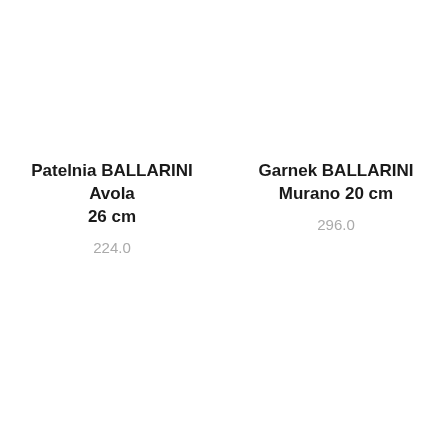Patelnia BALLARINI Avola 26 cm
224.0
Garnek BALLARINI Murano 20 cm
296.0